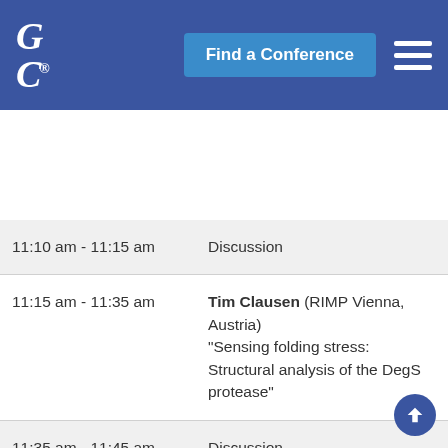GRC® | Find a Conference | menu
| Time | Session |
| --- | --- |
| 11:10 am - 11:15 am | Discussion |
| 11:15 am - 11:35 am | Tim Clausen (RIMP Vienna, Austria) "Sensing folding stress: Structural analysis of the DegS protease" |
| 11:35 am - 11:45 am | Discussion |
| 11:45 am - 11:55 am | Tanja Kögel (Univ. Bergen, Norway) "A role of myosin Va in the maturation of secretory |